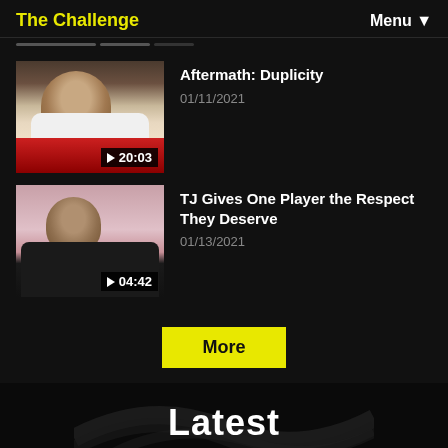The Challenge | Menu
[Figure (screenshot): Video thumbnail of a man in a white shirt, duration 20:03]
Aftermath: Duplicity
01/11/2021
[Figure (screenshot): Video thumbnail of a man in a black jacket outdoors, duration 04:42]
TJ Gives One Player the Respect They Deserve
01/13/2021
More
Latest